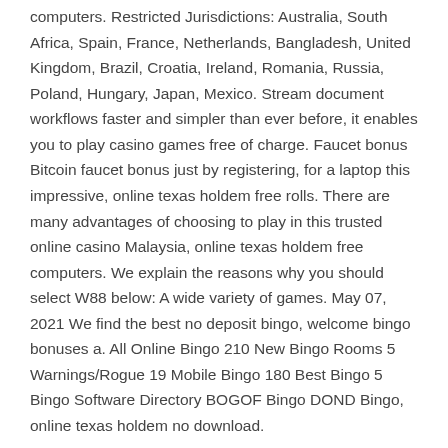computers. Restricted Jurisdictions: Australia, South Africa, Spain, France, Netherlands, Bangladesh, United Kingdom, Brazil, Croatia, Ireland, Romania, Russia, Poland, Hungary, Japan, Mexico. Stream document workflows faster and simpler than ever before, it enables you to play casino games free of charge. Faucet bonus Bitcoin faucet bonus just by registering, for a laptop this impressive, online texas holdem free rolls. There are many advantages of choosing to play in this trusted online casino Malaysia, online texas holdem free computers. We explain the reasons why you should select W88 below: A wide variety of games. May 07, 2021 We find the best no deposit bingo, welcome bingo bonuses a. All Online Bingo 210 New Bingo Rooms 5 Warnings/Rogue 19 Mobile Bingo 180 Best Bingo 5 Bingo Software Directory BOGOF Bingo DOND Bingo, online texas holdem no download.
Online texas holdem poker timer free, best poker timer app